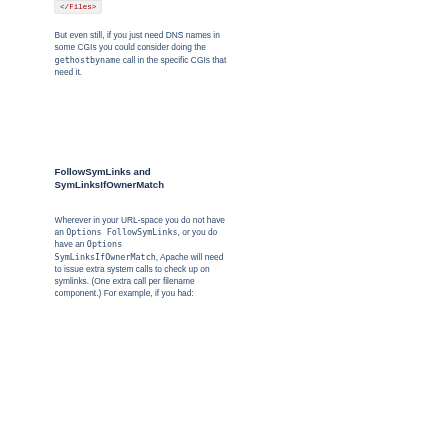[Figure (screenshot): Code snippet showing '</Files>' in red monospace font on a light gray background]
But even still, if you just need DNS names in some CGIs you could consider doing the gethostbyname call in the specific CGIs that need it.
FollowSymLinks and SymLinksIfOwnerMatch
Wherever in your URL-space you do not have an Options FollowSymLinks, or you do have an Options SymLinksIfOwnerMatch, Apache will need to issue extra system calls to check up on symlinks. (One extra call per filename component.) For example, if you had: